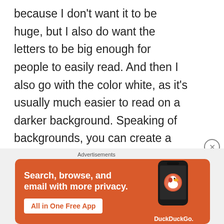because I don't want it to be huge, but I also do want the letters to be big enough for people to easily read. And then I also go with the color white, as it's usually much easier to read on a darker background. Speaking of backgrounds, you can create a black box behind the caption letters which help the words stand out more. Or you can set it to a different color than black, to make something more unique looking. From there, you can adjust the size of the background box to fit whatever you think is best for your video. In the
[Figure (other): DuckDuckGo advertisement banner with orange background. Text reads 'Search, browse, and email with more privacy.' with button 'All in One Free App' and DuckDuckGo logo with a phone graphic on the right.]